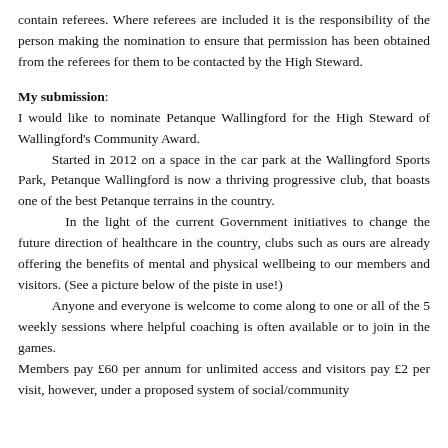contain referees. Where referees are included it is the responsibility of the person making the nomination to ensure that permission has been obtained from the referees for them to be contacted by the High Steward.
My submission:
I would like to nominate Petanque Wallingford for the High Steward of Wallingford's Community Award.
	Started in 2012 on a space in the car park at the Wallingford Sports Park, Petanque Wallingford is now a thriving progressive club, that boasts one of the best Petanque terrains in the country.
		In the light of the current Government initiatives to change the future direction of healthcare in the country, clubs such as ours are already offering the benefits of mental and physical wellbeing to our members and visitors. (See a picture below of the piste in use!)
	Anyone and everyone is welcome to come along to one or all of the 5 weekly sessions where helpful coaching is often available or to join in the games.
Members pay £60 per annum for unlimited access and visitors pay £2 per visit, however, under a proposed system of social/community responsibility, we'd like members to offer...